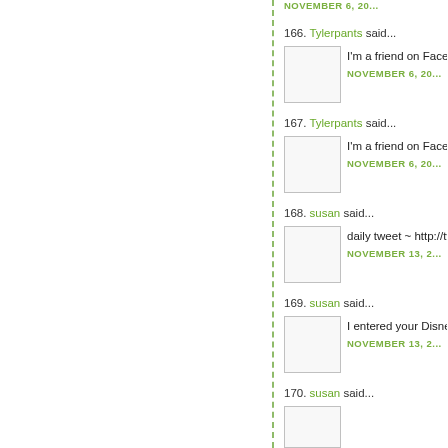NOVEMBER 6, 20...
166. Tylerpants said... I'm a friend on Facebo... NOVEMBER 6, 20...
167. Tylerpants said... I'm a friend on Facebo... NOVEMBER 6, 20...
168. susan said... daily tweet ~ http://tw... NOVEMBER 13, 2...
169. susan said... I entered your Disney... NOVEMBER 13, 2...
170. susan said...